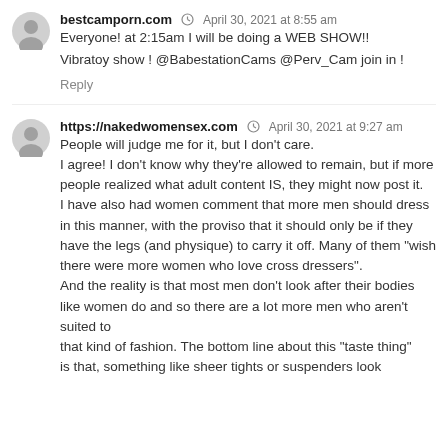bestcamporn.com · April 30, 2021 at 8:55 am
Everyone! at 2:15am I will be doing a WEB SHOW!!
Vibratoy show ! @BabestationCams @Perv_Cam join in !
Reply
https://nakedwomensex.com · April 30, 2021 at 9:27 am
People will judge me for it, but I don't care. I agree! I don't know why they're allowed to remain, but if more people realized what adult content IS, they might now post it. I have also had women comment that more men should dress in this manner, with the proviso that it should only be if they have the legs (and physique) to carry it off. Many of them "wish there were more women who love cross dressers". And the reality is that most men don't look after their bodies like women do and so there are a lot more men who aren't suited to that kind of fashion. The bottom line about this "taste thing" is that, something like sheer tights or suspenders look